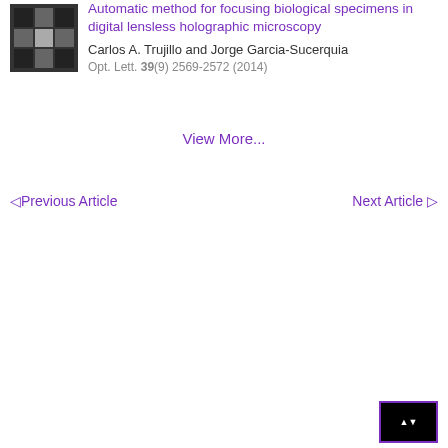[Figure (illustration): Small thumbnail image showing a grid of microscopy images, dark/gray tones arranged in a 3x3 pattern]
Automatic method for focusing biological specimens in digital lensless holographic microscopy
Carlos A. Trujillo and Jorge Garcia-Sucerquia
Opt. Lett. 39(9) 2569-2572 (2014)
View More...
◁Previous Article
Next Article ▷
[Figure (other): Small black badge/button with purple border in the bottom right corner]